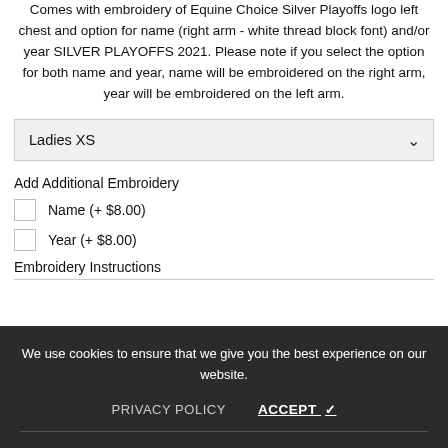Comes with embroidery of Equine Choice Silver Playoffs logo left chest and option for name (right arm - white thread block font) and/or year SILVER PLAYOFFS 2021. Please note if you select the option for both name and year, name will be embroidered on the right arm, year will be embroidered on the left arm.
Ladies XS
Add Additional Embroidery
Name (+ $8.00)
Year (+ $8.00)
Embroidery Instructions
We use cookies to ensure that we give you the best experience on our website.
PRIVACY POLICY    ACCEPT ✓